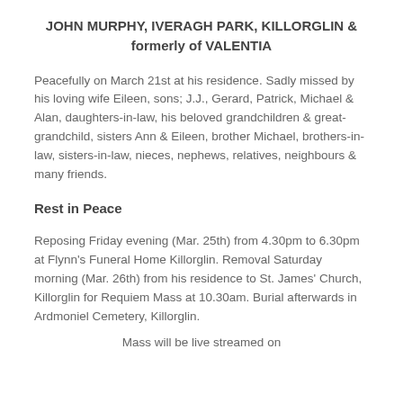JOHN MURPHY, IVERAGH PARK, KILLORGLIN & formerly of VALENTIA
Peacefully on March 21st at his residence. Sadly missed by his loving wife Eileen, sons; J.J., Gerard, Patrick, Michael & Alan, daughters-in-law, his beloved grandchildren & great-grandchild, sisters Ann & Eileen, brother Michael, brothers-in-law, sisters-in-law, nieces, nephews, relatives, neighbours & many friends.
Rest in Peace
Reposing Friday evening (Mar. 25th) from 4.30pm to 6.30pm at Flynn's Funeral Home Killorglin. Removal Saturday morning (Mar. 26th) from his residence to St. James' Church, Killorglin for Requiem Mass at 10.30am. Burial afterwards in Ardmoniel Cemetery, Killorglin.
Mass will be live streamed on